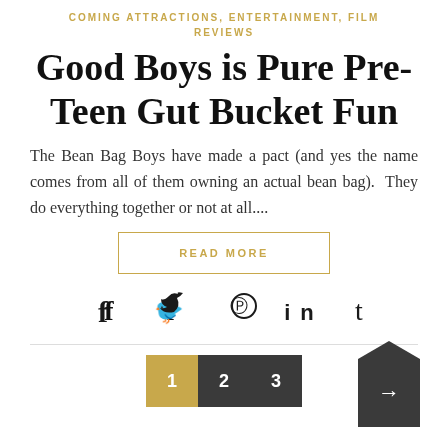COMING ATTRACTIONS, ENTERTAINMENT, FILM REVIEWS
Good Boys is Pure Pre-Teen Gut Bucket Fun
The Bean Bag Boys have made a pact (and yes the name comes from all of them owning an actual bean bag). They do everything together or not at all....
READ MORE
[Figure (infographic): Social media share icons: Facebook, Twitter, Pinterest, LinkedIn, Tumblr]
[Figure (infographic): Pagination: page 1 (active, gold), page 2, page 3 (dark), and a next arrow button]